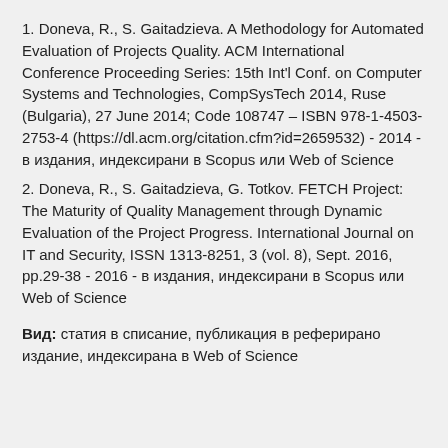1. Doneva, R., S. Gaitadzieva. A Methodology for Automated Evaluation of Projects Quality. ACM International Conference Proceeding Series: 15th Int'l Conf. on Computer Systems and Technologies, CompSysTech 2014, Ruse (Bulgaria), 27 June 2014; Code 108747 – ISBN 978-1-4503-2753-4 (https://dl.acm.org/citation.cfm?id=2659532) - 2014 - в издания, индексирани в Scopus или Web of Science
2. Doneva, R., S. Gaitadzieva, G. Totkov. FETCH Project: The Maturity of Quality Management through Dynamic Evaluation of the Project Progress. International Journal on IT and Security, ISSN 1313-8251, 3 (vol. 8), Sept. 2016, pp.29-38 - 2016 - в издания, индексирани в Scopus или Web of Science
Вид: статия в списание, публикация в реферирано издание, индексирана в Web of Science